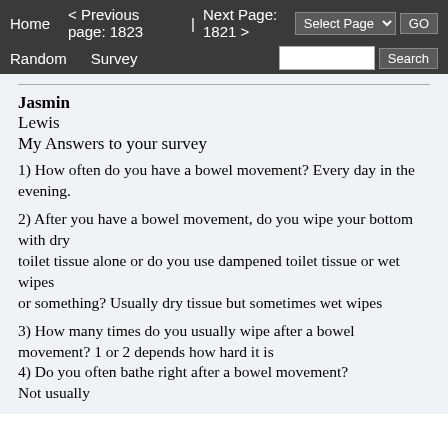Home  < Previous page: 1823  |  Next Page: 1821 >  Random  Survey  Select Page  GO  Search
Jasmin
Lewis
My Answers to your survey
1) How often do you have a bowel movement? Every day in the evening.
2) After you have a bowel movement, do you wipe your bottom with dry
toilet tissue alone or do you use dampened toilet tissue or wet wipes
or something? Usually dry tissue but sometimes wet wipes
3) How many times do you usually wipe after a bowel movement? 1 or 2 depends how hard it is
4) Do you often bathe right after a bowel movement? Not usually